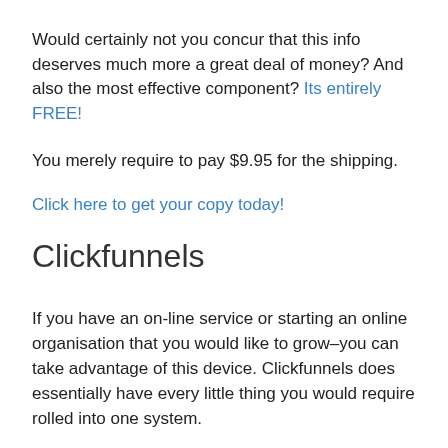Would certainly not you concur that this info deserves much more a great deal of money? And also the most effective component? Its entirely FREE!
You merely require to pay $9.95 for the shipping.
Click here to get your copy today!
Clickfunnels
If you have an on-line service or starting an online organisation that you would like to grow–you can take advantage of this device. Clickfunnels does essentially have every little thing you would require rolled into one system.